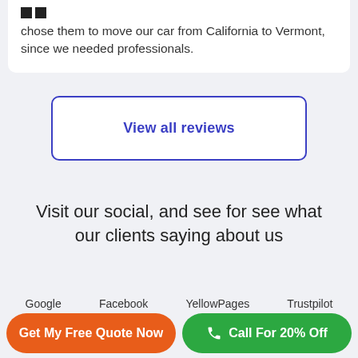chose them to move our car from California to Vermont, since we needed professionals.
View all reviews
Visit our social, and see for see what our clients saying about us
Google     Facebook     YellowPages     Trustpilot
Get My Free Quote Now
Call For 20% Off